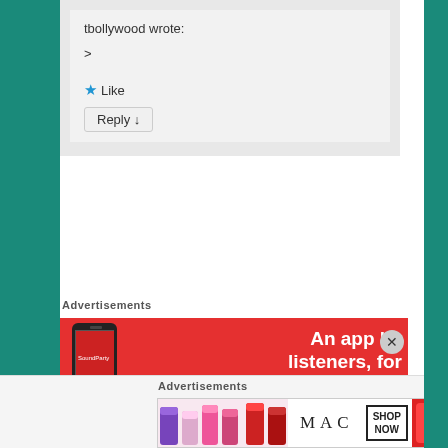tbollywood wrote:
>
★ Like
Reply ↓
Advertisements
[Figure (screenshot): Red advertisement banner: 'An app by listeners, for lis...' with a phone image on red background]
Advertisements
[Figure (screenshot): MAC cosmetics advertisement with lipsticks and SHOP NOW button]